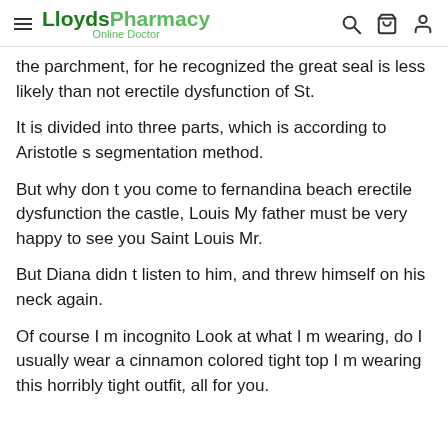LloydsPharmacy Online Doctor
the parchment, for he recognized the great seal is less likely than not erectile dysfunction of St.
It is divided into three parts, which is according to Aristotle s segmentation method.
But why don t you come to fernandina beach erectile dysfunction the castle, Louis My father must be very happy to see you Saint Louis Mr.
But Diana didn t listen to him, and threw himself on his neck again.
Of course I m incognito Look at what I m wearing, do I usually wear a cinnamon colored tight top I m wearing this horribly tight outfit, all for you.